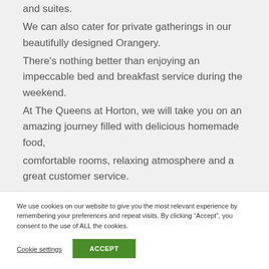and suites.
We can also cater for private gatherings in our beautifully designed Orangery.
There's nothing better than enjoying an impeccable bed and breakfast service during the weekend.
At The Queens at Horton, we will take you on an amazing journey filled with delicious homemade food,
comfortable rooms, relaxing atmosphere and a great customer service.
We use cookies on our website to give you the most relevant experience by remembering your preferences and repeat visits. By clicking “Accept”, you consent to the use of ALL the cookies.
Cookie settings
ACCEPT